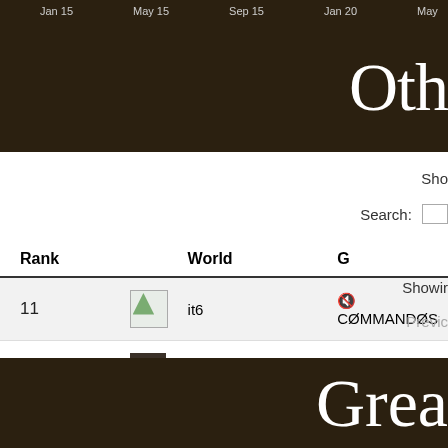Jan 15   May 15   Sep 15   Jan 20   May
Oth
Sho
Search:
| Rank |  | World | G |
| --- | --- | --- | --- |
| 11 | [icon] | it6 | 🔇 CØMMANDØS |
| 4.676 | [avatar] | it9 | Coronavirus |
Rank   World   G
Showir
Previc
Grea